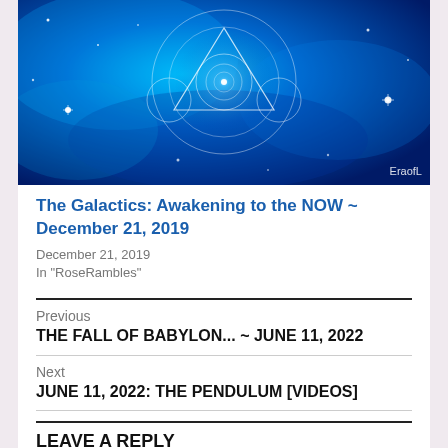[Figure (illustration): Blue cosmic/galactic themed image with geometric sacred geometry symbols including triangle and circles on a starfield background. Watermark 'EraofL' visible in bottom right.]
The Galactics: Awakening to the NOW ~ December 21, 2019
December 21, 2019
In "RoseRambles"
Previous
THE FALL OF BABYLON... ~ JUNE 11, 2022
Next
JUNE 11, 2022: THE PENDULUM [VIDEOS]
LEAVE A REPLY